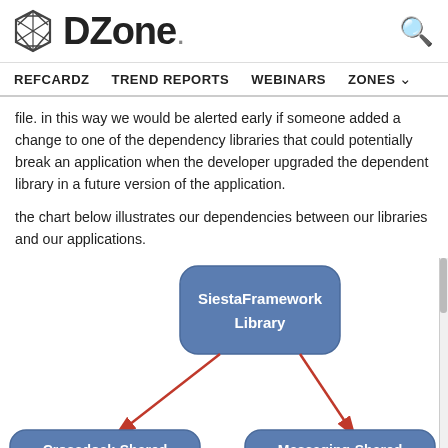DZone. [logo] [search icon]
REFCARDZ   TREND REPORTS   WEBINARS   ZONES
file.  in this way we would be alerted early if someone added a change to one of the dependency libraries that could potentially break an application when the developer upgraded the dependent library in a future version of the application.
the chart below illustrates our dependencies between our libraries and our applications.
[Figure (flowchart): Dependency diagram showing SiestaFramework Library at the top connected by red arrows pointing down to Crossdock-Shared Library on the left and Messaging-Shared Library on the right. All boxes are rounded rectangles with blue-grey fill and white bold text.]